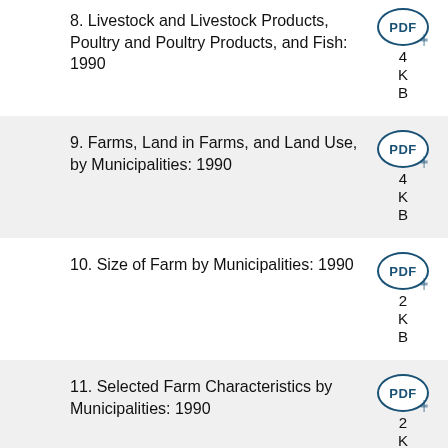8. Livestock and Livestock Products, Poultry and Poultry Products, and Fish: 1990
9. Farms, Land in Farms, and Land Use, by Municipalities: 1990
10. Size of Farm by Municipalities: 1990
11. Selected Farm Characteristics by Municipalities: 1990